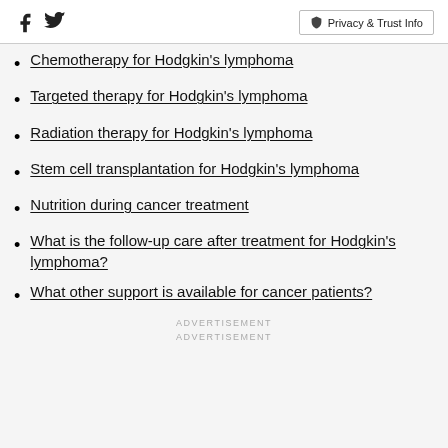Social icons: Facebook, Twitter | Privacy & Trust Info
Chemotherapy for Hodgkin's lymphoma
Targeted therapy for Hodgkin's lymphoma
Radiation therapy for Hodgkin's lymphoma
Stem cell transplantation for Hodgkin's lymphoma
Nutrition during cancer treatment
What is the follow-up care after treatment for Hodgkin's lymphoma?
What other support is available for cancer patients?
ADVERTISEMENT
ADVERTISEMENT